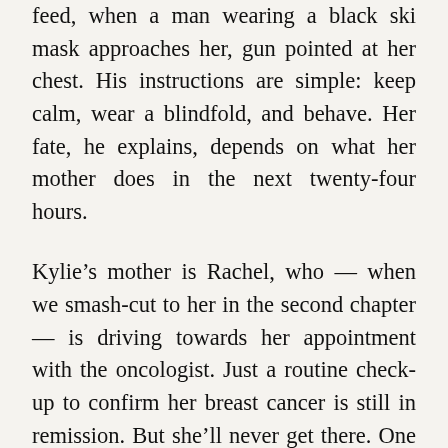feed, when a man wearing a black ski mask approaches her, gun pointed at her chest. His instructions are simple: keep calm, wear a blindfold, and behave. Her fate, he explains, depends on what her mother does in the next twenty-four hours.
Kylie's mother is Rachel, who — when we smash-cut to her in the second chapter — is driving towards her appointment with the oncologist. Just a routine check-up to confirm her breast cancer is still in remission. But she'll never get there. One phone call is all it takes to derail Rachel's life. It comes from someone utilising a speech modulation machine. It tells her she's not the first and she won't be the last; that it's not about money, it's about 'The Chain;' and